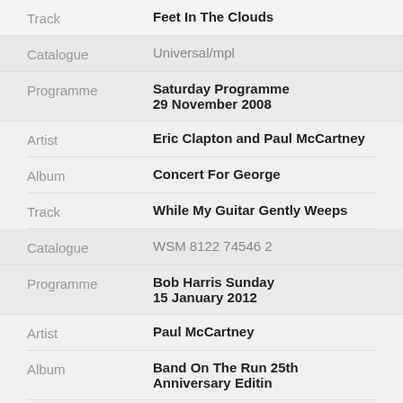Track: Feet In The Clouds
Catalogue: Universal/mpl
Programme: Saturday Programme 29 November 2008
Artist: Eric Clapton and Paul McCartney
Album: Concert For George
Track: While My Guitar Gently Weeps
Catalogue: WSM 8122 74546 2
Programme: Bob Harris Sunday 15 January 2012
Artist: Paul McCartney
Album: Band On The Run 25th Anniversary Editin
Track: ...